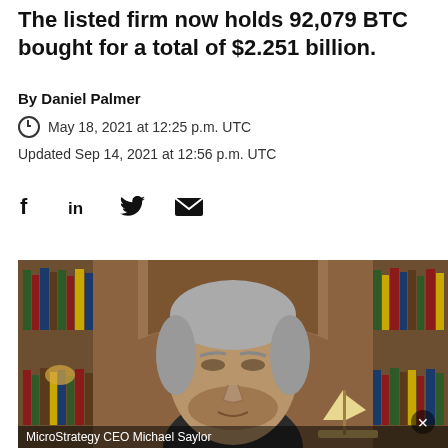The listed firm now holds 92,079 BTC bought for a total of $2.251 billion.
By Daniel Palmer
May 18, 2021 at 12:25 p.m. UTC
Updated Sep 14, 2021 at 12:56 p.m. UTC
[Figure (other): Social media sharing icons: Facebook, LinkedIn, Twitter, Email]
[Figure (photo): MicroStrategy CEO Michael Saylor speaking on video call, seated in front of a wooden bookcase with books and a ship model. Gray-haired man in black shirt.]
MicroStrategy CEO Michael Saylor